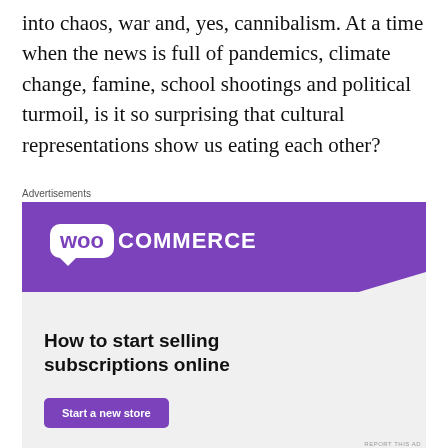into chaos, war and, yes, cannibalism. At a time when the news is full of pandemics, climate change, famine, school shootings and political turmoil, is it so surprising that cultural representations show us eating each other?
[Figure (other): WooCommerce advertisement banner. Purple banner at top with WooCommerce logo. Green triangle shape on left, light blue curved shape on bottom right. Text reads 'How to start selling subscriptions online' with a purple 'Start a new store' button. 'REPORT THIS AD' text at bottom right.]